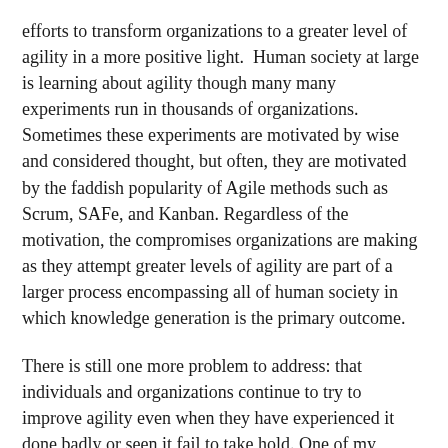efforts to transform organizations to a greater level of agility in a more positive light.  Human society at large is learning about agility though many many experiments run in thousands of organizations. Sometimes these experiments are motivated by wise and considered thought, but often, they are motivated by the faddish popularity of Agile methods such as Scrum, SAFe, and Kanban. Regardless of the motivation, the compromises organizations are making as they attempt greater levels of agility are part of a larger process encompassing all of human society in which knowledge generation is the primary outcome.
There is still one more problem to address: that individuals and organizations continue to try to improve agility even when they have experienced it done badly or seen it fail to take hold. One of my favourite authors and a prominent figure in the Agile community is Ron Jeffries. In the last couple of years, he has started to call out "Dark Scrum" as a blight in organizations that is causing suffering. I believe there is also "dark kanban"